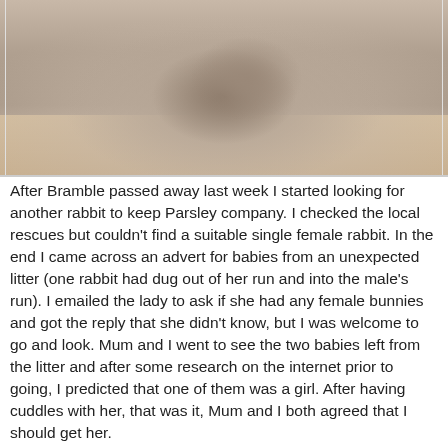[Figure (photo): A grey/white rabbit lying on a beige/tan sofa cushion, photographed from above]
After Bramble passed away last week I started looking for another rabbit to keep Parsley company. I checked the local rescues but couldn't find a suitable single female rabbit. In the end I came across an advert for babies from an unexpected litter (one rabbit had dug out of her run and into the male's run). I emailed the lady to ask if she had any female bunnies and got the reply that she didn't know, but I was welcome to go and look. Mum and I went to see the two babies left from the litter and after some research on the internet prior to going, I predicted that one of them was a girl. After having cuddles with her, that was it, Mum and I both agreed that I should get her.
We picked her up on Monday evening, when she was exactly 8 weeks old. She's currently living in the kitchen whilst we get her vaccinated and check that she is healthy. She had her first vaccination on Wednesday, and after getting a second opinion from another vet, my vet agreed